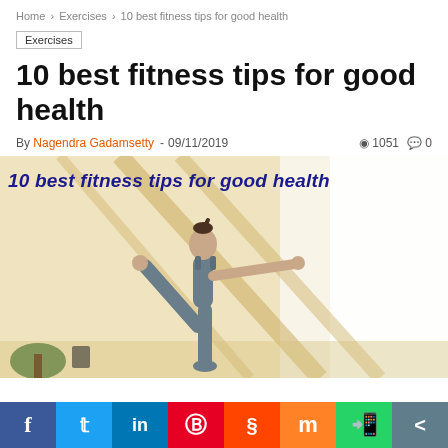Home > Exercises > 10 best fitness tips for good health
Exercises
10 best fitness tips for good health
By Nagendra Gadamsetty - 09/11/2019  1051  0
[Figure (photo): Woman in grey athletic wear performing a yoga balance pose (Natarajasana) in a bright room with wooden beam ceiling. Text overlay reads '10 best fitness tips for good health' in bold dark blue italic font.]
Social share bar: Facebook, Twitter, LinkedIn, Pinterest, Reddit, Mix, WhatsApp, Share